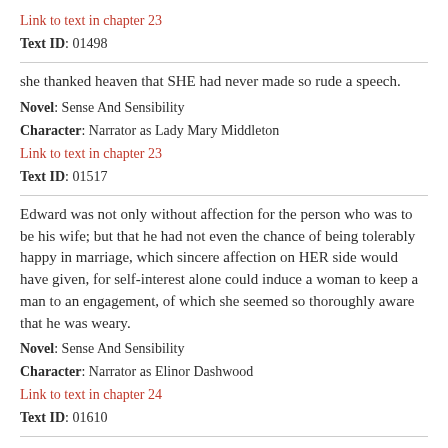Link to text in chapter 23
Text ID: 01498
she thanked heaven that SHE had never made so rude a speech.
Novel: Sense And Sensibility
Character: Narrator as Lady Mary Middleton
Link to text in chapter 23
Text ID: 01517
Edward was not only without affection for the person who was to be his wife; but that he had not even the chance of being tolerably happy in marriage, which sincere affection on HER side would have given, for self-interest alone could induce a woman to keep a man to an engagement, of which she seemed so thoroughly aware that he was weary.
Novel: Sense And Sensibility
Character: Narrator as Elinor Dashwood
Link to text in chapter 24
Text ID: 01610
their determined resolution of not leaving their mother at that